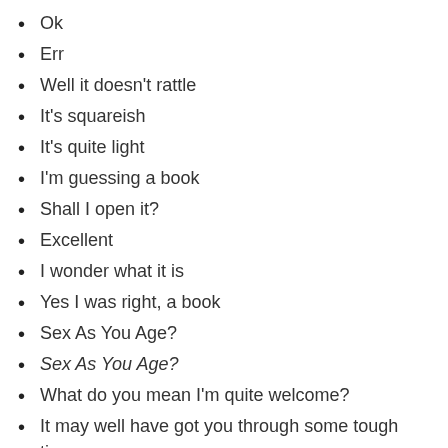Ok
Err
Well it doesn't rattle
It's squareish
It's quite light
I'm guessing a book
Shall I open it?
Excellent
I wonder what it is
Yes I was right, a book
Sex As You Age?
Sex As You Age?
What do you mean I'm quite welcome?
It may well have got you through some tough times
But I'm in my thirties
My Thirties
I'm not aging